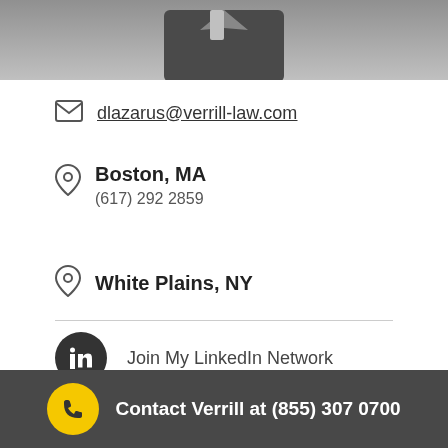[Figure (photo): Partial photo of a man in a dark suit and tie, black and white]
dlazarus@verrill-law.com
Boston, MA
(617) 292 2859
White Plains, NY
Join My LinkedIn Network
Download My vCard
Contact Verrill at (855) 307 0700